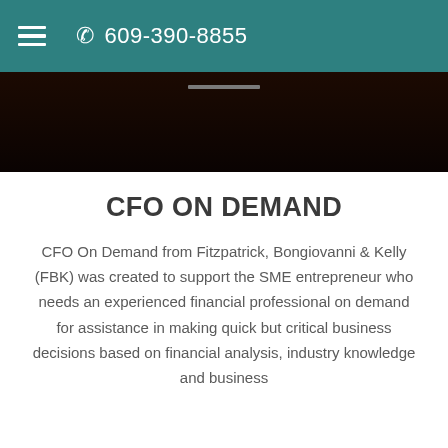609-390-8855
[Figure (photo): Dark background image strip with a small gray horizontal bar element near the top center]
CFO ON DEMAND
CFO On Demand from Fitzpatrick, Bongiovanni & Kelly (FBK) was created to support the SME entrepreneur who needs an experienced financial professional on demand for assistance in making quick but critical business decisions based on financial analysis, industry knowledge and business